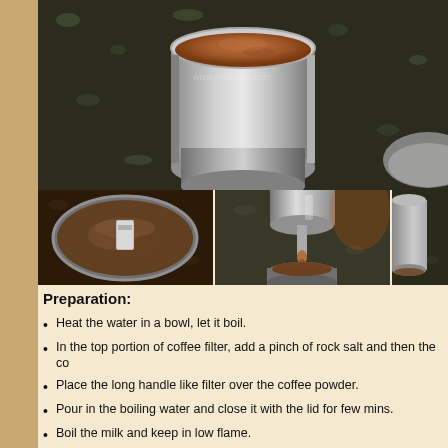[Figure (photo): Top photo of a stainless steel Indian coffee filter filled with brown coffee powder on a dark granite surface, with another coffee filter visible in the bottom right corner]
[Figure (photo): Bottom left photo showing the inside of a coffee filter with coffee powder and a small cylindrical press/plunger resting on top]
[Figure (photo): Bottom center photo showing coffee decoction dripping from the upper chamber of the filter into the lower collection cup]
[Figure (photo): Bottom right photo (partially visible) showing the side of a stainless steel coffee filter on a dark granite surface]
Preparation:
Heat the water in a bowl, let it boil.
In the top portion of coffee filter, add a pinch of rock salt and then the co
Place the long handle like filter over the coffee powder.
Pour in the boiling water and close it with the lid for few mins.
Boil the milk and keep in low flame.
Remove the lid after 15 mins and check out if all the water is drained to